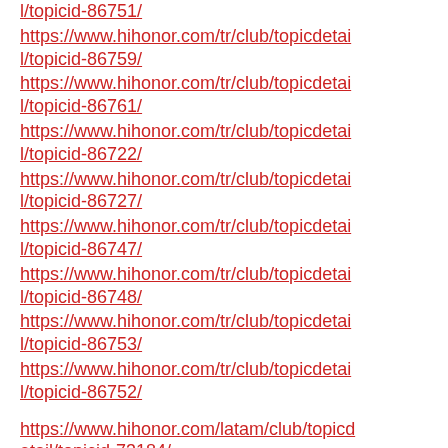https://www.hihonor.com/tr/club/topicdetail/topicid-86751/
https://www.hihonor.com/tr/club/topicdetail/topicid-86759/
https://www.hihonor.com/tr/club/topicdetail/topicid-86761/
https://www.hihonor.com/tr/club/topicdetail/topicid-86722/
https://www.hihonor.com/tr/club/topicdetail/topicid-86727/
https://www.hihonor.com/tr/club/topicdetail/topicid-86747/
https://www.hihonor.com/tr/club/topicdetail/topicid-86748/
https://www.hihonor.com/tr/club/topicdetail/topicid-86753/
https://www.hihonor.com/tr/club/topicdetail/topicid-86752/
https://www.hihonor.com/latam/club/topicdetail/topicid-73184/
https://www.hihonor.com/latam/club/topicdetail/topicid-73186/